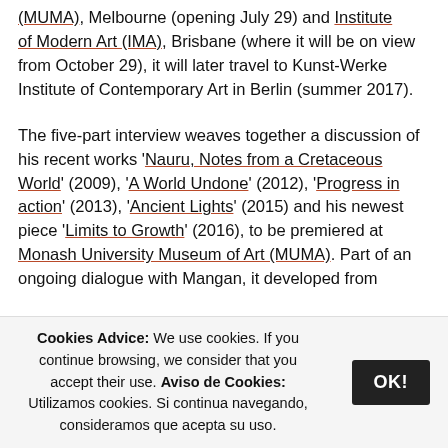(MUMA), Melbourne (opening July 29) and Institute of Modern Art (IMA), Brisbane (where it will be on view from October 29), it will later travel to Kunst-Werke Institute of Contemporary Art in Berlin (summer 2017).
The five-part interview weaves together a discussion of his recent works 'Nauru, Notes from a Cretaceous World' (2009), 'A World Undone' (2012), 'Progress in action' (2013), 'Ancient Lights' (2015) and his newest piece 'Limits to Growth' (2016), to be premiered at Monash University Museum of Art (MUMA). Part of an ongoing dialogue with Mangan, it developed from
Cookies Advice: We use cookies. If you continue browsing, we consider that you accept their use. Aviso de Cookies: Utilizamos cookies. Si continua navegando, consideramos que acepta su uso.